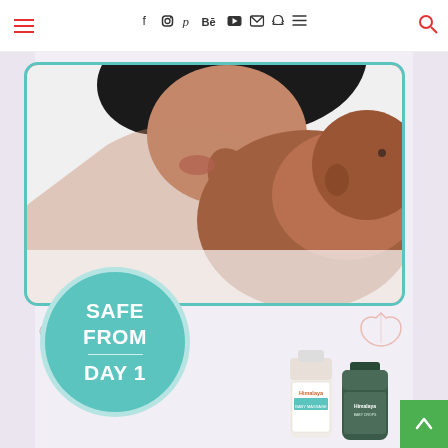Navigation header with hamburger menu, social icons (Facebook, Instagram, Pinterest, Behance, YouTube, Email, Snapchat, Menu), and Search
[Figure (photo): Advertisement image for Himalaya baby products. A mother leans toward her newborn baby lying on a white surface with baby-themed doodles (fish, hearts, leaves). The photo is shown inside a teal-bordered frame. A large teal circle badge reads 'SAFE FROM DAY 1'. In the bottom right, Himalaya product bottles are partially visible. A green scroll-to-top button appears in the bottom-right corner.]